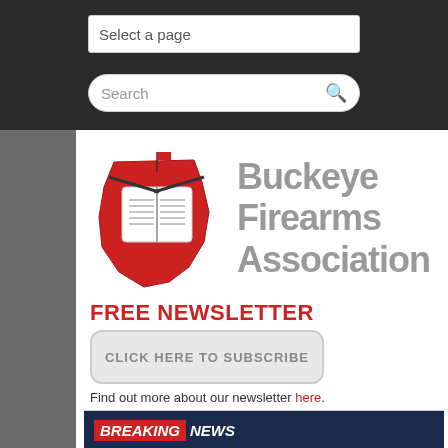Select a page
Search
[Figure (logo): Buckeye Firearms Association logo with Ohio state silhouette in red and firearms imagery, text reads DEFENDING YOUR FIREARM RIGHTS]
Buckeye Firearms Association
FREE NEWSLETTER
CLICK HERE TO SUBSCRIBE
Find out more about our newsletter here.
[Figure (screenshot): Breaking News banner with White House illustration and text BREAKING NEWS / LEAD BAN UPDATE on dark navy background]